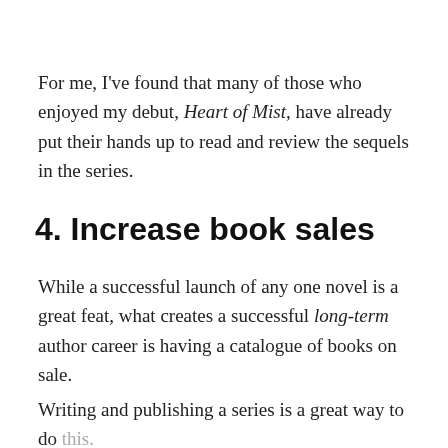For me, I've found that many of those who enjoyed my debut, Heart of Mist, have already put their hands up to read and review the sequels in the series.
4. Increase book sales
While a successful launch of any one novel is a great feat, what creates a successful long-term author career is having a catalogue of books on sale.
Writing and publishing a series is a great way to do this.